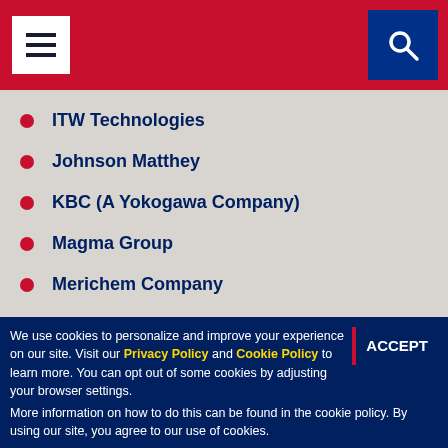Navigation menu header with hamburger and search icons
ITW Technologies
Johnson Matthey
KBC (A Yokogawa Company)
Magma Group
Merichem Company
OHL Gutermuth Industrial Valves
Optimized Gas Treating
PAC - Petroleum Analyzer Company
Process Consulting Services
We use cookies to personalize and improve your experience on our site. Visit our Privacy Policy and Cookie Policy to learn more. You can opt out of some cookies by adjusting your browser settings. More information on how to do this can be found in the cookie policy. By using our site, you agree to our use of cookies.